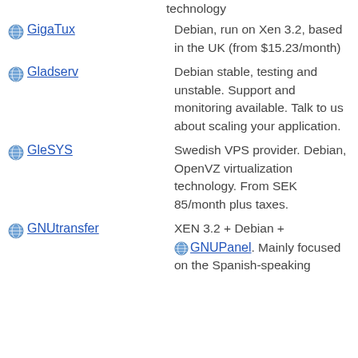technology
GigaTux — Debian, run on Xen 3.2, based in the UK (from $15.23/month)
Gladserv — Debian stable, testing and unstable. Support and monitoring available. Talk to us about scaling your application.
GleSYS — Swedish VPS provider. Debian, OpenVZ virtualization technology. From SEK 85/month plus taxes.
GNUtransfer — XEN 3.2 + Debian + GNUPanel. Mainly focused on the Spanish-speaking